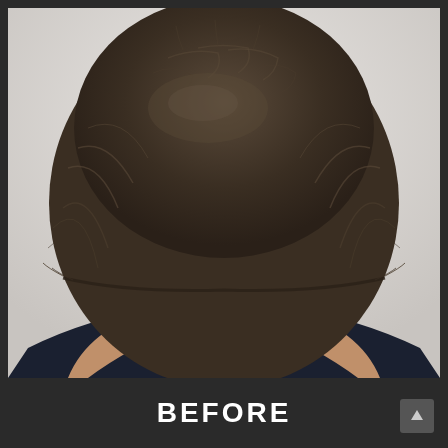[Figure (photo): Back view of a woman with a short dark brown bob haircut, wearing a dark navy wide-neck top, photographed against a white/light grey background.]
BEFORE